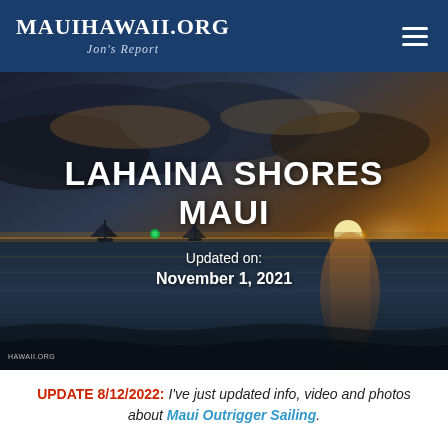MauiHawaii.org — Jon's Report
[Figure (photo): Maui sunset over the ocean with sailboats silhouetted against a dramatic sky of orange, gold, and dark clouds. Text overlay reads: LAHAINA SHORES MAUI — Updated on: November 1, 2021. Watermark: HAWAII.ORG]
UPDATE 8/12/2022: I've just updated info, video and photos about Maui Outrigger Sailing.